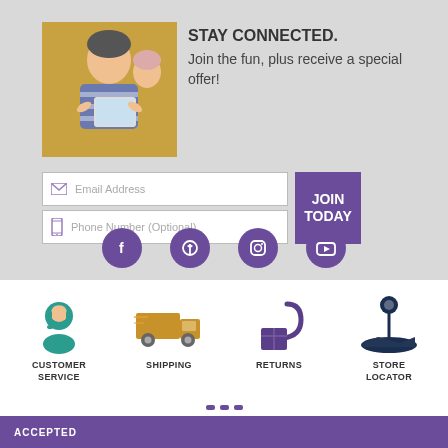[Figure (photo): A child using a tablet device, photographed in warm tones]
STAY CONNECTED. Join the fun, plus receive a special offer!
[Figure (infographic): Email address input field with envelope icon, Phone number input field with phone icon, and JOIN TODAY purple button]
[Figure (infographic): Four purple circular social media icons: Facebook, Pinterest, Instagram, YouTube]
[Figure (infographic): Customer Service icon - teal person with headset]
CUSTOMER SERVICE
[Figure (infographic): Shipping icon - golden delivery truck]
SHIPPING
[Figure (infographic): Returns icon - purple box with return arrow]
RETURNS
[Figure (infographic): Store Locator icon - dark navy map marker with map]
STORE LOCATOR
ACCEPTED